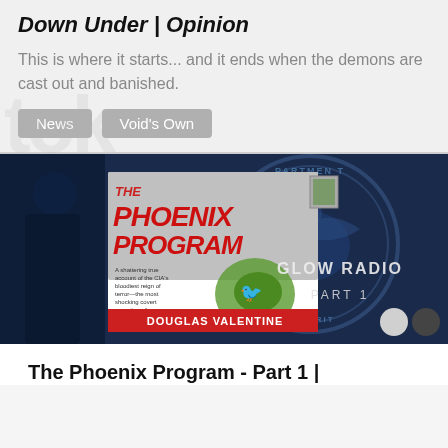Down Under | Opinion
This is where it starts... and it ends when the demons are cast out and banished.
News
Void's Own
[Figure (photo): Book cover of 'The Phoenix Program' by Douglas Valentine overlaid on a background showing U.S. Department of Homeland Security seal in blue, with 'GLOW RADIO PART 1' text overlay]
The Phoenix Program - Part 1 |